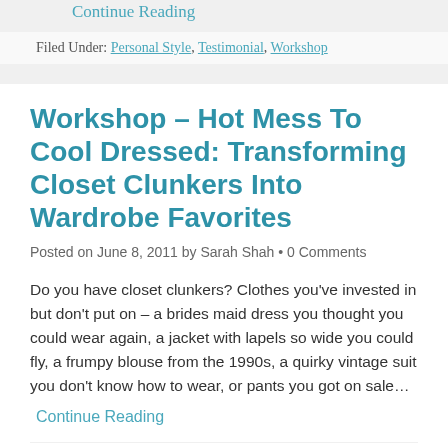Continue Reading
Filed Under: Personal Style, Testimonial, Workshop
Workshop – Hot Mess To Cool Dressed: Transforming Closet Clunkers Into Wardrobe Favorites
Posted on June 8, 2011 by Sarah Shah • 0 Comments
Do you have closet clunkers? Clothes you've invested in but don't put on – a brides maid dress you thought you could wear again, a jacket with lapels so wide you could fly, a frumpy blouse from the 1990s, a quirky vintage suit you don't know how to wear, or pants you got on sale…
Continue Reading
Filed Under: Image, Tailoring, Workshop